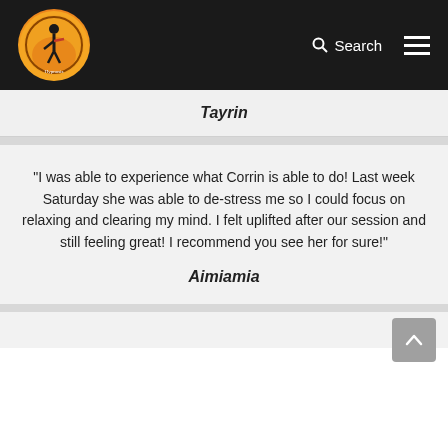Extraordinary Chaos Hypnosis — Search / Menu
Tayrin
"I was able to experience what Corrin is able to do! Last week Saturday she was able to de-stress me so I could focus on relaxing and clearing my mind. I felt uplifted after our session and still feeling great! I recommend you see her for sure!"
Aimiamia